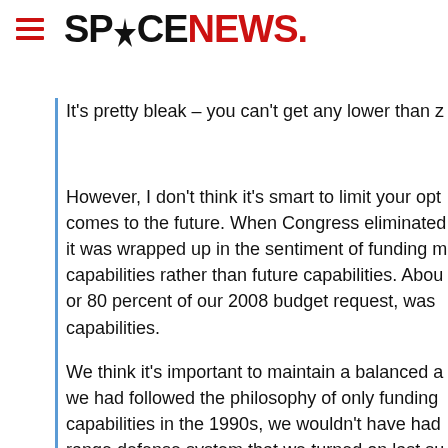SPACENEWS.
It's pretty bleak – you can't get any lower than z
However, I don't think it's smart to limit your opt comes to the future. When Congress eliminated it was wrapped up in the sentiment of funding m capabilities rather than future capabilities. Abou or 80 percent of our 2008 budget request, was capabilities.
We think it's important to maintain a balanced a we had followed the philosophy of only funding capabilities in the 1990s, we wouldn't have had range defense system that we turned on last su